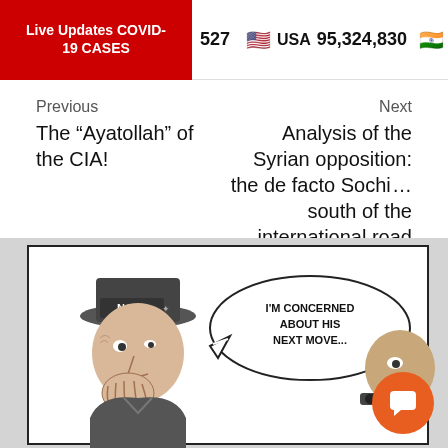Live Updates COVID-19 CASES  527  USA 95,324,830
Previous
The “Ayatollah” of the CIA!
Next
Analysis of the Syrian opposition: the de facto Sochi ... south of the international road has fallen, and Operation Spring Shield is over
[Figure (illustration): A cartoon showing a figure wearing a NATO hat whispering with hand cupped to mouth, with a speech bubble reading 'I'M CONCERNED ABOUT HIS NEXT MOVE...' and another figure visible on the right side.]